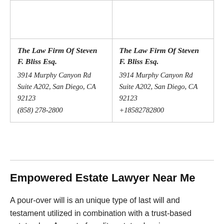|  |  |
| The Law Firm Of Steven F. Bliss Esq.
3914 Murphy Canyon Rd Suite A202, San Diego, CA 92123
(858) 278-2800 | The Law Firm Of Steven F. Bliss Esq.
3914 Murphy Canyon Rd Suite A202, San Diego, CA 92123
+18582782800 |
Empowered Estate Lawyer Near Me
A pour-over will is an unique type of last will and testament utilized in combination with a trust-based estate plan. As part of quality estate planning an irrevocable trust is one that, by